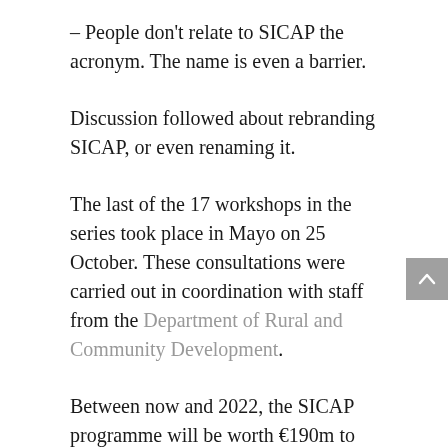– People don't relate to SICAP the acronym. The name is even a barrier.
Discussion followed about rebranding SICAP, or even renaming it.
The last of the 17 workshops in the series took place in Mayo on 25 October. These consultations were carried out in coordination with staff from the Department of Rural and Community Development.
Between now and 2022, the SICAP programme will be worth €190m to communities.